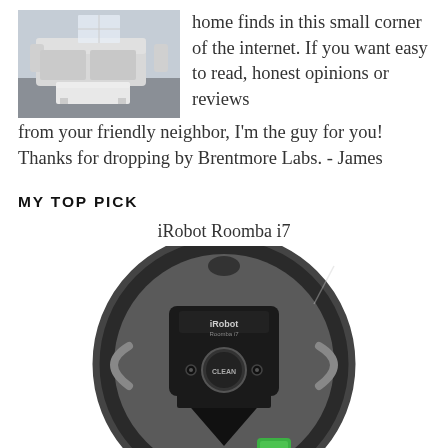[Figure (photo): Small thumbnail photo of a living room interior with a couch and coffee table]
home finds in this small corner of the internet. If you want easy to read, honest opinions or reviews from your friendly neighbor, I'm the guy for you! Thanks for dropping by Brentmore Labs. - James
MY TOP PICK
iRobot Roomba i7
[Figure (photo): Top-down photo of iRobot Roomba i7 robot vacuum cleaner, dark grey/black circular device with CLEAN button, iRobot branding, and a green smartphone visible at the bottom]